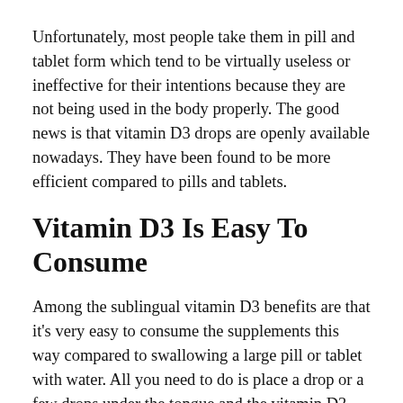Unfortunately, most people take them in pill and tablet form which tend to be virtually useless or ineffective for their intentions because they are not being used in the body properly. The good news is that vitamin D3 drops are openly available nowadays. They have been found to be more efficient compared to pills and tablets.
Vitamin D3 Is Easy To Consume
Among the sublingual vitamin D3 benefits are that it's very easy to consume the supplements this way compared to swallowing a large pill or tablet with water. All you need to do is place a drop or a few drops under the tongue and the vitamin D3 will diffuse into the blood stream through the tissues. This way of taking the supplement allows your body to consume the nutrients in the supplement properly. Because it is in liquid form, the body can easily absorb it into the system as opposed to pills and tablets.